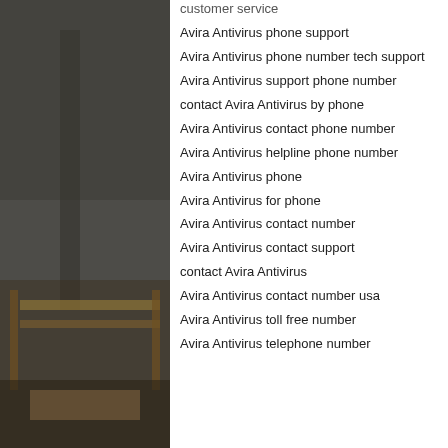[Figure (photo): A dark indoor photo showing what appears to be a room with furniture, possibly chairs or a bed frame with metal/wooden elements, dimly lit environment.]
customer service
Avira Antivirus phone support
Avira Antivirus phone number tech support
Avira Antivirus support phone number
contact Avira Antivirus by phone
Avira Antivirus contact phone number
Avira Antivirus helpline phone number
Avira Antivirus phone
Avira Antivirus for phone
Avira Antivirus contact number
Avira Antivirus contact support
contact Avira Antivirus
Avira Antivirus contact number usa
Avira Antivirus toll free number
Avira Antivirus telephone number